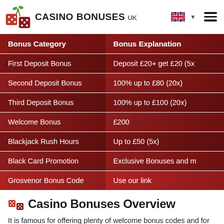CASINO BONUSES UK
| Bonus Category | Bonus Explanation |
| --- | --- |
| First Deposit Bonus | Deposit £20+ get £20 (5x |
| Second Deposit Bonus | 100% up to £80 (20x) |
| Third Deposit Bonus | 100% up to £100 (20x) |
| Welcome Bonus | £200 |
| Blackjack Rush Hours | Up to £50 (5x) |
| Black Card Promotion | Exclusive Bonuses and m |
| Grosvenor Bonus Code | Use our link |
Casino Bonuses Overview
It is famous for offering plenty of welcome bonus codes and for its promotions too, which are